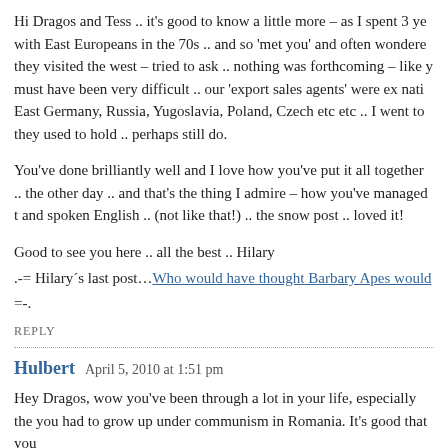Hi Dragos and Tess .. it's good to know a little more – as I spent 3 ye with East Europeans in the 70s .. and so 'met you' and often wondere they visited the west – tried to ask .. nothing was forthcoming – like y must have been very difficult .. our 'export sales agents' were ex nati East Germany, Russia, Yugoslavia, Poland, Czech etc etc .. I went to they used to hold .. perhaps still do.
You've done brilliantly well and I love how you've put it all together .. the other day .. and that's the thing I admire – how you've managed t and spoken English .. (not like that!) .. the snow post .. loved it!
Good to see you here .. all the best .. Hilary
.-= Hilary´s last post…Who would have thought Barbary Apes would
=-.
REPLY
Hulbert   April 5, 2010 at 1:51 pm
Hey Dragos, wow you've been through a lot in your life, especially the you had to grow up under communism in Romania. It's good that you